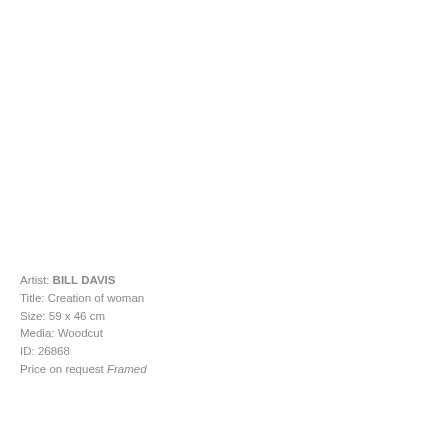Artist: BILL DAVIS
Title: Creation of woman
Size: 59 x 46 cm
Media: Woodcut
ID: 26868
Price on request Framed